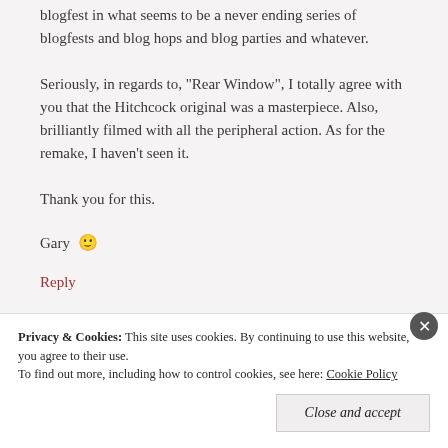blogfest in what seems to be a never ending series of blogfests and blog hops and blog parties and whatever.
Seriously, in regards to, "Rear Window", I totally agree with you that the Hitchcock original was a masterpiece. Also, brilliantly filmed with all the peripheral action. As for the remake, I haven't seen it.
Thank you for this.
Gary 🙂
Reply
Privacy & Cookies: This site uses cookies. By continuing to use this website, you agree to their use. To find out more, including how to control cookies, see here: Cookie Policy
Close and accept